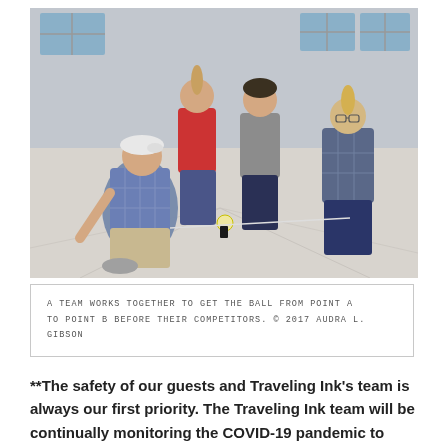[Figure (photo): Four people crouched on the floor of an indoor room working together around a ball, appearing to move it from one point to another. One person wears a white cap and plaid shirt, another wears red, another a gray shirt, and another a plaid jacket with glasses.]
A TEAM WORKS TOGETHER TO GET THE BALL FROM POINT A TO POINT B BEFORE THEIR COMPETITORS. © 2017 AUDRA L. GIBSON
**The safety of our guests and Traveling Ink's team is always our first priority. The Traveling Ink team will be continually monitoring the COVID-19 pandemic to make wise decisions about in-person events on a day to day basis. If in-person events are not appropriate, we'll do our best